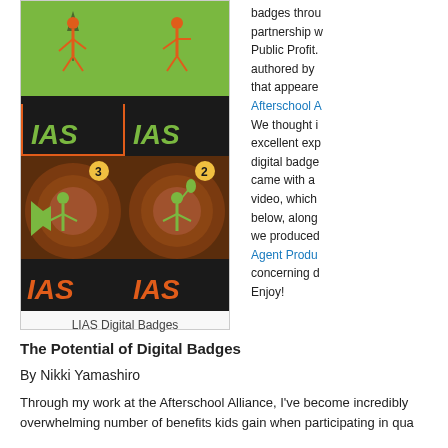[Figure (photo): Four LIAS Digital Badges arranged in a 2x2 grid. Top row: two green badges with black 'IAS' logo and athlete figures. Bottom row: two brown/orange badges numbered 3 and 2 with 'IAS' logo and human figures with megaphone and raised hand.]
LIAS Digital Badges
badges through partnership w Public Profit. authored by that appeare Afterschool A We thought i excellent exp digital badge came with a video, which below, along we produced Agent Produ concerning d Enjoy!
The Potential of Digital Badges
By Nikki Yamashiro
Through my work at the Afterschool Alliance, I've become incredibly overwhelming number of benefits kids gain when participating in qua